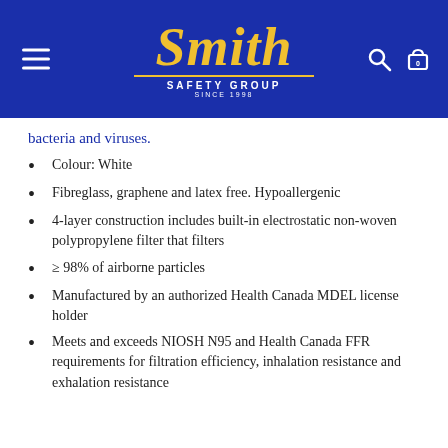Smith Safety Group — Since 1998
bacteria and viruses.
Colour: White
Fibreglass, graphene and latex free. Hypoallergenic
4-layer construction includes built-in electrostatic non-woven polypropylene filter that filters
≥ 98% of airborne particles
Manufactured by an authorized Health Canada MDEL license holder
Meets and exceeds NIOSH N95 and Health Canada FFR requirements for filtration efficiency, inhalation resistance and exhalation resistance